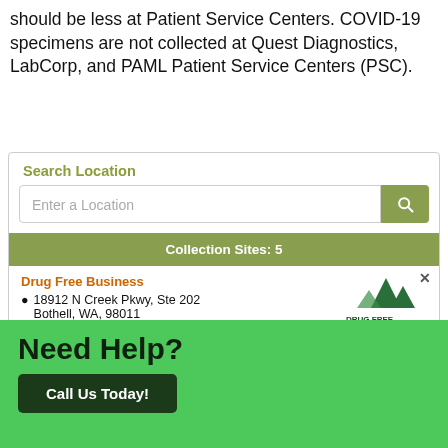should be less at Patient Service Centers. COVID-19 specimens are not collected at Quest Diagnostics, LabCorp, and PAML Patient Service Centers (PSC).
Search Location
Enter a Location
Collection Sites: 5
Drug Free Business
18912 N Creek Pkwy, Ste 202 Bothell, WA, 98011
Phone: 425-488-9755
[Figure (logo): Drug Free Business logo with mountain/peaks icon]
Need Help?
Call Us Today!
powered by Calendly
Thur: 07:10 AM - 11:40 AM  Never see this message again.